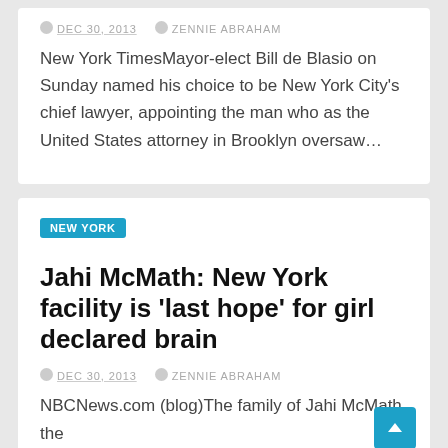DEC 30, 2013   ZENNIE ABRAHAM
New York TimesMayor-elect Bill de Blasio on Sunday named his choice to be New York City's chief lawyer, appointing the man who as the United States attorney in Brooklyn oversaw…
NEW YORK
Jahi McMath: New York facility is 'last hope' for girl declared brain
DEC 30, 2013   ZENNIE ABRAHAM
NBCNews.com (blog)The family of Jahi McMath, the